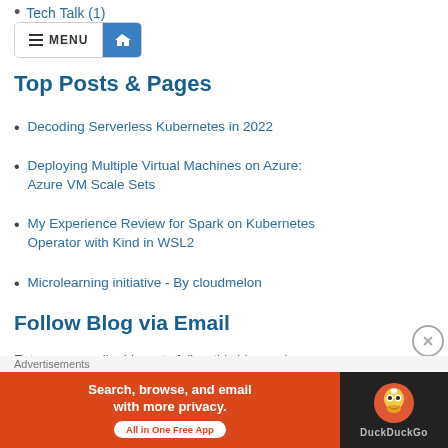Tech Talk (1)
Top Posts & Pages
Decoding Serverless Kubernetes in 2022
Deploying Multiple Virtual Machines on Azure: Azure VM Scale Sets
My Experience Review for Spark on Kubernetes Operator with Kind in WSL2
Microlearning initiative - By cloudmelon
Follow Blog via Email
Enter your email address to follow this blog and
[Figure (screenshot): DuckDuckGo advertisement banner: orange section with text 'Search, browse, and email with more privacy. All in One Free App' and dark section with DuckDuckGo logo and brand name]